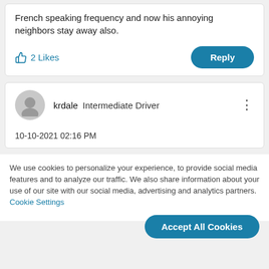French speaking frequency and now his annoying neighbors stay away also.
2 Likes
Reply
krdale   Intermediate Driver
10-10-2021 02:16 PM
We use cookies to personalize your experience, to provide social media features and to analyze our traffic. We also share information about your use of our site with our social media, advertising and analytics partners. Cookie Settings
Accept All Cookies